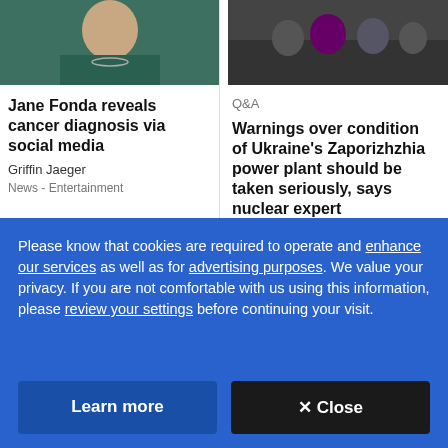[Figure (photo): Photo of Jane Fonda wearing a teal patterned outfit and necklace]
Jane Fonda reveals cancer diagnosis via social media
Griffin Jaeger
News  -  Entertainment
[Figure (photo): Photo of people at a news conference or protest event]
Q&A
Warnings over condition of Ukraine's Zaporizhzhia power plant should be taken seriously, says nuclear expert
Andrea Bellemare
Radio  -  As It Happens
[Figure (photo): Partial photo visible at bottom left]
[Figure (photo): Partial photo visible at bottom right]
Please know that cookies are required to operate and enhance our services as well as for advertising purposes. We value your privacy. If you are not comfortable with us using this information, please review your settings before continuing your visit.